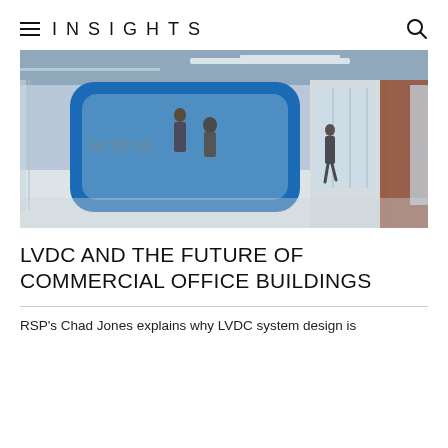INSIGHTS
[Figure (photo): Interior photo of a modern commercial office building hallway featuring a blue-framed glass pod/booth structure in the center, with people walking in a bright corridor with large windows and warm wood accent walls.]
LVDC AND THE FUTURE OF COMMERCIAL OFFICE BUILDINGS
RSP's Chad Jones explains why LVDC system design is